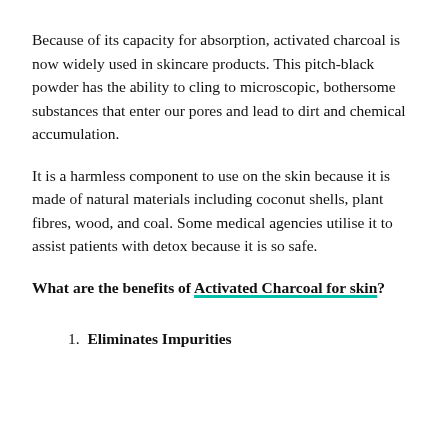Because of its capacity for absorption, activated charcoal is now widely used in skincare products. This pitch-black powder has the ability to cling to microscopic, bothersome substances that enter our pores and lead to dirt and chemical accumulation.
It is a harmless component to use on the skin because it is made of natural materials including coconut shells, plant fibres, wood, and coal. Some medical agencies utilise it to assist patients with detox because it is so safe.
What are the benefits of Activated Charcoal for skin?
Eliminates Impurities